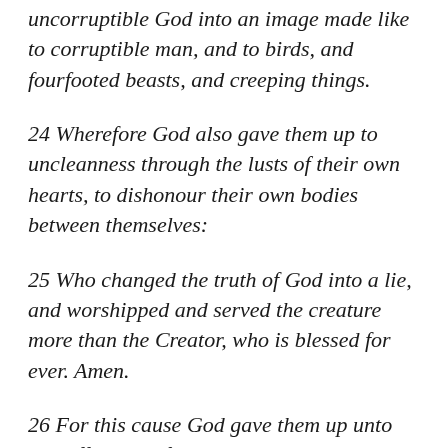uncorruptible God into an image made like to corruptible man, and to birds, and fourfooted beasts, and creeping things.
24 Wherefore God also gave them up to uncleanness through the lusts of their own hearts, to dishonour their own bodies between themselves:
25 Who changed the truth of God into a lie, and worshipped and served the creature more than the Creator, who is blessed for ever. Amen.
26 For this cause God gave them up unto vile affections: for even their women did change the natural use into that which is against nature: